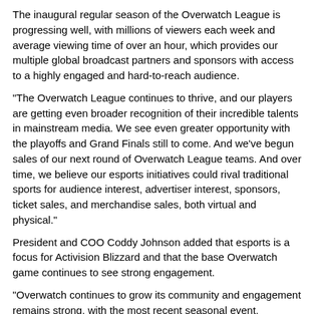The inaugural regular season of the Overwatch League is progressing well, with millions of viewers each week and average viewing time of over an hour, which provides our multiple global broadcast partners and sponsors with access to a highly engaged and hard-to-reach audience.
"The Overwatch League continues to thrive, and our players are getting even broader recognition of their incredible talents in mainstream media. We see even greater opportunity with the playoffs and Grand Finals still to come. And we've begun sales of our next round of Overwatch League teams. And over time, we believe our esports initiatives could rival traditional sports for audience interest, advertiser interest, sponsors, ticket sales, and merchandise sales, both virtual and physical."
President and COO Coddy Johnson added that esports is a focus for Activision Blizzard and that the base Overwatch game continues to see strong engagement.
"Overwatch continues to grow its community and engagement remains strong, with the most recent seasonal event, Retribution, having the highest participation rate to date. Now Overwatch's performance is driven by a commitment to the player community. And with its ongoing stream of seasonal events, maps, and heroes, Overwatch was recently recognized as the world's best evolving game.
"To that end, Overwatch has now added new and innovative links between the game and the spectating experience for Overwatch League, which brings me to our second pillar, deepening engagement. Esports is, as you know and as Bobby said, a priority